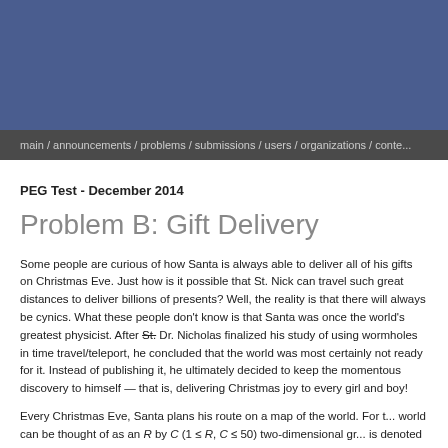[Figure (other): Blue header banner background]
main / announcements / problems / submissions / users / organizations / conte...
PEG Test - December 2014
Problem B: Gift Delivery
Some people are curious of how Santa is always able to deliver all of his gifts on Christmas Eve. Just how is it possible that St. Nick can travel such great distances to deliver billions of presents? Well, the reality is that there will always be cynics. What these people don't know is that Santa was once the world's greatest physicist. After St. Dr. Nicholas finalized his study of using wormholes in time travel/teleport, he concluded that the world was most certainly not ready for it. Instead of publishing it, he ultimately decided to keep the momentous discovery to himself — that is, delivering Christmas joy to every girl and boy!
Every Christmas Eve, Santa plans his route on a map of the world. For the purposes of this problem, the world can be thought of as an R by C (1 ≤ R, C ≤ 50) two-dimensional grid where the top-left cell is denoted by coordinates (1, 1) and the bottom-right cell of the grid is de... There are N houses at distinct locations on the grid, which Santa has n...